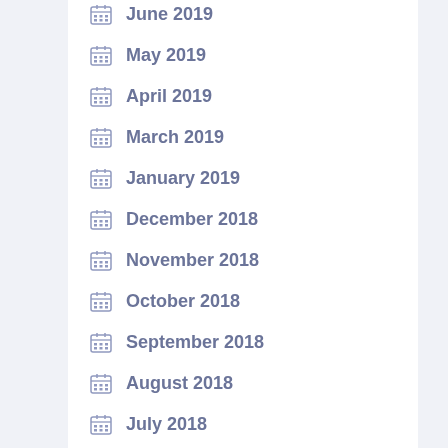June 2019
May 2019
April 2019
March 2019
January 2019
December 2018
November 2018
October 2018
September 2018
August 2018
July 2018
June 2018
May 2018